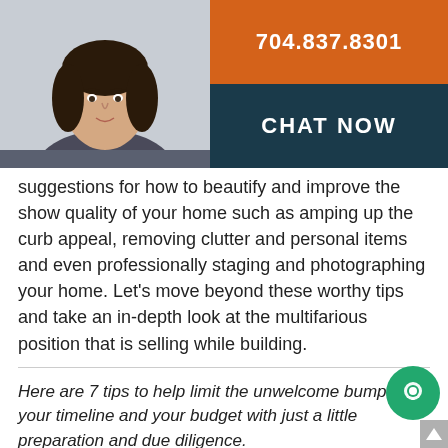[Figure (photo): Agent photo (woman with dark hair) on teal/blue background header bar with phone number 704.837.8301 in orange block and CHAT NOW in dark block]
suggestions for how to beautify and improve the show quality of your home such as amping up the curb appeal, removing clutter and personal items and even professionally staging and photographing your home. Let's move beyond these worthy tips and take an in-depth look at the multifarious position that is selling while building.
Here are 7 tips to help limit the unwelcome bumps in your timeline and your budget with just a little preparation and due diligence.
Understand The Market: Being knowledgeable on the market trends for both your